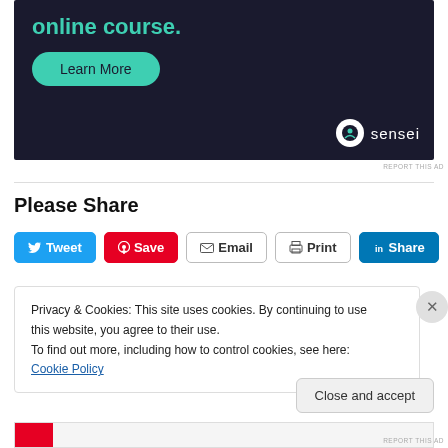[Figure (screenshot): Advertisement banner with dark navy background showing 'online course.' text in teal, a 'Learn More' teal rounded button, and a 'sensei' logo with circular icon in white at bottom right.]
REPORT THIS AD
Please Share
[Figure (screenshot): Row of social sharing buttons: Tweet (blue), Save (red/Pinterest), Email (outlined), Print (outlined), Share (LinkedIn blue)]
Privacy & Cookies: This site uses cookies. By continuing to use this website, you agree to their use.
To find out more, including how to control cookies, see here: Cookie Policy
Close and accept